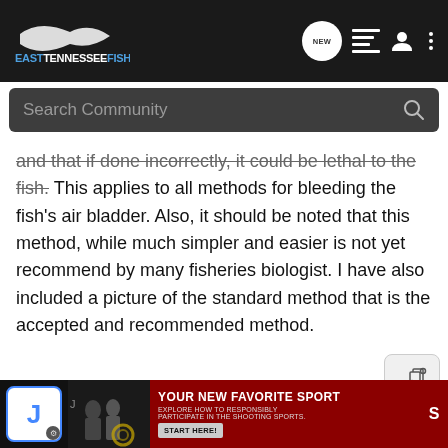EastTennesseeFishing — navigation bar with logo, NEW bubble, list icon, user icon, menu dots
Search Community
and that if done incorrectly, it could be lethal to the fish. This applies to all methods for bleeding the fish's air bladder. Also, it should be noted that this method, while much simpler and easier is not yet recommend by many fisheries biologist. I have also included a picture of the standard method that is the accepted and recommended method.
G3 Guy
[Figure (screenshot): Bottom ad banner with avatar icon J, photo of people shooting sports, red banner reading YOUR NEW FAVORITE SPORT — EXPLORE HOW TO RESPONSIBLY PARTICIPATE IN THE SHOOTING SPORTS. START HERE!]